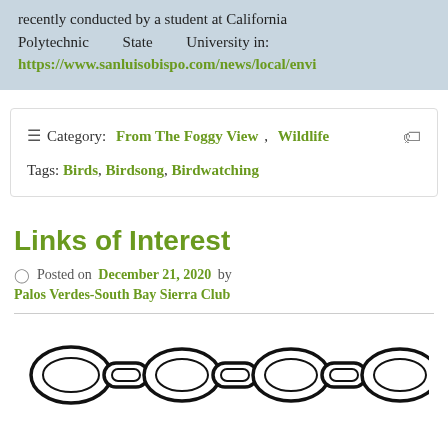recently conducted by a student at California Polytechnic State University in: https://www.sanluisobispo.com/news/local/envi
Category: From The Foggy View, Wildlife   Tags: Birds, Birdsong, Birdwatching
Links of Interest
Posted on December 21, 2020 by Palos Verdes-South Bay Sierra Club
[Figure (illustration): Black and white illustration of a chain with multiple interlocking oval links]